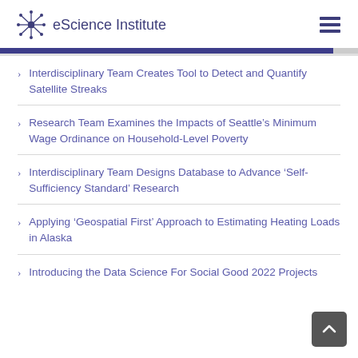eScience Institute
Interdisciplinary Team Creates Tool to Detect and Quantify Satellite Streaks
Research Team Examines the Impacts of Seattle’s Minimum Wage Ordinance on Household-Level Poverty
Interdisciplinary Team Designs Database to Advance ‘Self-Sufficiency Standard’ Research
Applying ‘Geospatial First’ Approach to Estimating Heating Loads in Alaska
Introducing the Data Science For Social Good 2022 Projects